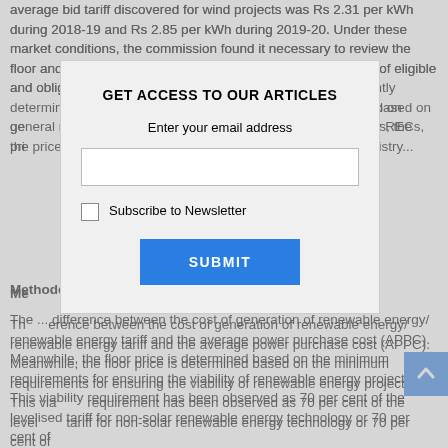average bid tariff discovered for wind projects was Rs 2.31 per kWh during 2018-19 and Rs 2.85 per kWh during 2019-20. Under these market conditions, the commission found it necessary to review the floor and forbearance prices of RECs to balance the interests of eligible and obligated entities. The forbearance and floor prices currently determined by the commission vide order dated ... were based on general regulatory conditions prevalent at the time ... For solar RECs, the prices are recovered through costs established by the Ministry...
Methodology
The ... difference between the cost of generation of renewable energy/ renewable energy tariff and the average power purchase cost (APPC). Meanwhile, the floor price is determined based on the minimum requirements for ensuring the viability of renewable energy projects. This viability requirement has been observed as 70 per cent of the levelised tariff for non-solar renewable energy technology or 70 per cent of the ...
[Figure (other): Modal dialog box overlaid on text content. Contains heading 'GET ACCESS TO OUR ARTICLES', subtitle 'Enter your email address', an email input field, a 'Subscribe to Newsletter' checkbox, and a blue SUBMIT button.]